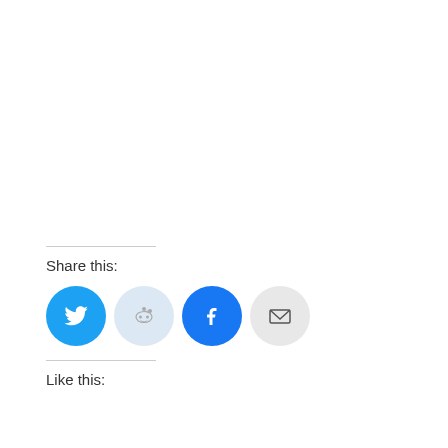Share this:
[Figure (other): Four circular social share buttons: Twitter (blue with bird icon), Reddit (light blue with alien icon), Facebook (dark blue with f icon), Email (light gray with envelope icon)]
Like this: